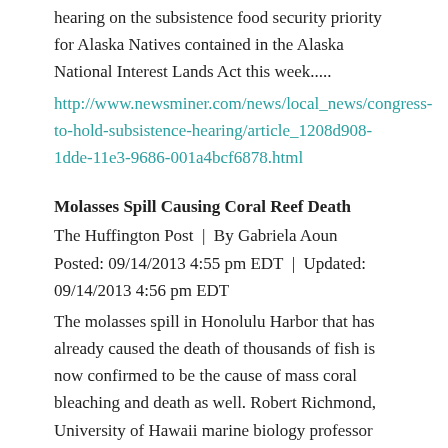hearing on the subsistence food security priority for Alaska Natives contained in the Alaska National Interest Lands Act this week.....
http://www.newsminer.com/news/local_news/congress-to-hold-subsistence-hearing/article_1208d908-1dde-11e3-9686-001a4bcf6878.html
Molasses Spill Causing Coral Reef Death
The Huffington Post | By Gabriela Aoun
Posted: 09/14/2013 4:55 pm EDT | Updated: 09/14/2013 4:56 pm EDT
The molasses spill in Honolulu Harbor that has already caused the death of thousands of fish is now confirmed to be the cause of mass coral bleaching and death as well. Robert Richmond, University of Hawaii marine biology professor and director of Kewalo Marine Laboratory, told